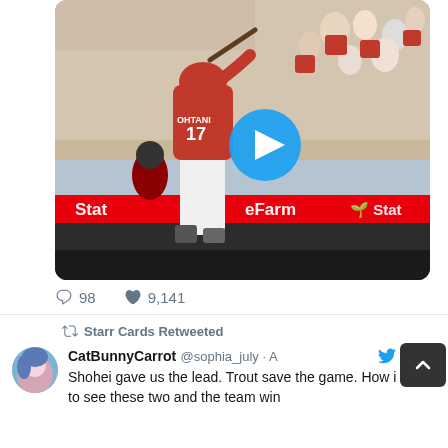[Figure (photo): Baseball player wearing red jersey #17 (OHTAN) batting at Angels stadium, crowd in background, State Farm advertisement banner visible, blue play button overlay indicating video]
98  ♡  9,141
Starr Cards Retweeted
CatBunnyCarrot @sophia_july · Aug 30
Shohei gave us the lead. Trout save the game. How i want to see these two and the team win